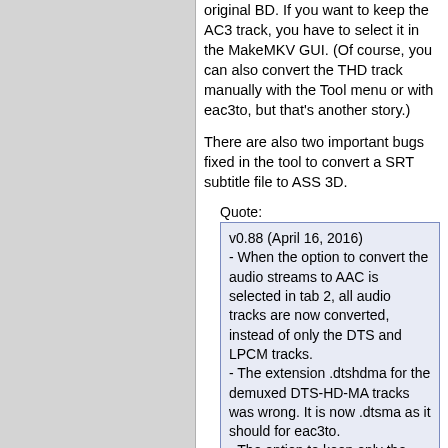original BD. If you want to keep the AC3 track, you have to select it in the MakeMKV GUI. (Of course, you can also convert the THD track manually with the Tool menu or with eac3to, but that's another story.)
There are also two important bugs fixed in the tool to convert a SRT subtitle file to ASS 3D.
Quote:
v0.88 (April 16, 2016)
- When the option to convert the audio streams to AAC is selected in tab 2, all audio tracks are now converted, instead of only the DTS and LPCM tracks.
- The extension .dtshdma for the demuxed DTS-HD-MA tracks was wrong. It is now .dtsma as it should for eac3to.
- The option to keep only the core of HD audio tracks in tab 2 is now removed when a 3D-MKV created by MakeMKV is the source.
- It is not possible any more